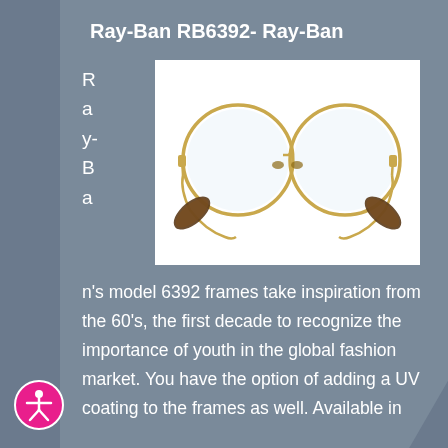Ray-Ban RB6392- Ray-Ban
[Figure (photo): Ray-Ban RB6392 round metal eyeglasses frames with gold wire rims and tortoise shell temples on a white background]
Ray-Ban's model 6392 frames take inspiration from the 60's, the first decade to recognize the importance of youth in the global fashion market. You have the option of adding a UV coating to the frames as well. Available in
[Figure (logo): Accessibility icon: pink circle with white person figure with arms outstretched]